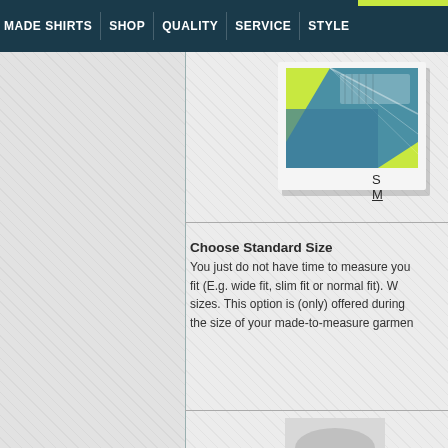MADE SHIRTS  SHOP  QUALITY  SERVICE  STYLE
[Figure (photo): Partial view of a made-to-measure shirt with measuring tape, shown as a polaroid-style photo in top right area]
S
M
Choose Standard Size
You just do not have time to measure yourself? Choose a standard fit (E.g. wide fit, slim fit or normal fit). We offer standard sizes. This option is (only) offered during checkout to approximate the size of your made-to-measure garment.
[Figure (photo): Partially visible image at bottom of page]